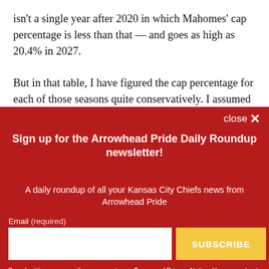isn't a single year after 2020 in which Mahomes' cap percentage is less than that — and goes as high as 20.4% in 2027.
But in that table, I have figured the cap percentage for each of those seasons quite conservatively. I assumed
close ✕
Sign up for the Arrowhead Pride Daily Roundup newsletter!
A daily roundup of all your Kansas City Chiefs news from Arrowhead Pride
Email (required)
SUBSCRIBE
By submitting your email, you agree to our Terms and Privacy Notice. You can opt out at any time. This site is protected by reCAPTCHA and the Google Privacy Policy and Terms of Service apply.